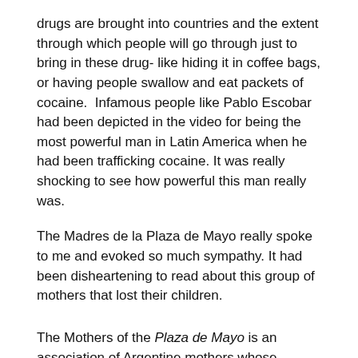drugs are brought into countries and the extent through which people will go through just to bring in these drug- like hiding it in coffee bags, or having people swallow and eat packets of cocaine.  Infamous people like Pablo Escobar had been depicted in the video for being the most powerful man in Latin America when he had been trafficking cocaine. It was really shocking to see how powerful this man really was.
The Madres de la Plaza de Mayo really spoke to me and evoked so much sympathy. It had been disheartening to read about this group of mothers that lost their children.
The Mothers of the Plaza de Mayo is an association of Argentine mothers whose children “disappeared” during the dictatorship.  This era represents families being torn apart and several human rights atrocities that had been carried out by the corrupt military. They had their children “taken” from them with no explanations.
During this “Dirty War”  in Argentina from 1976 to 1983, the military government did more than just kidnap children but they